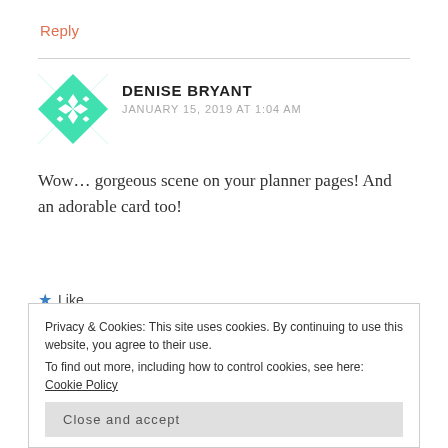Reply
DENISE BRYANT
JANUARY 15, 2019 AT 1:04 AM
Wow... gorgeous scene on your planner pages! And an adorable card too!
★ Like
Reply
Privacy & Cookies: This site uses cookies. By continuing to use this website, you agree to their use.
To find out more, including how to control cookies, see here: Cookie Policy
Close and accept